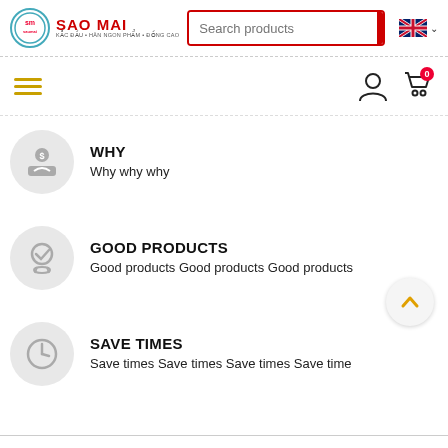[Figure (screenshot): Sao Mai e-commerce website header with logo, search bar, and language selector]
[Figure (screenshot): Navigation bar with hamburger menu, user icon, and cart icon with badge 0]
WHY
Why why why
GOOD PRODUCTS
Good products Good products Good products
SAVE TIMES
Save times Save times Save times Save time